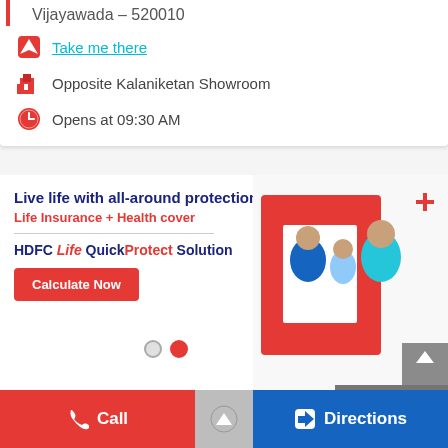Vijayawada – 520010
Take me there
Opposite Kalaniketan Showroom
Opens at 09:30 AM
[Figure (infographic): HDFC Life QuickProtect Solution advertisement banner. Headline: Live life with all-around protection. Subheadline: Life Insurance + Health cover. Brand: HDFC Life QuickProtect Solution. Button: Calculate Now. Right side shows a smiling family (woman, child, man) with a large red geometric shape.]
Call
Directions